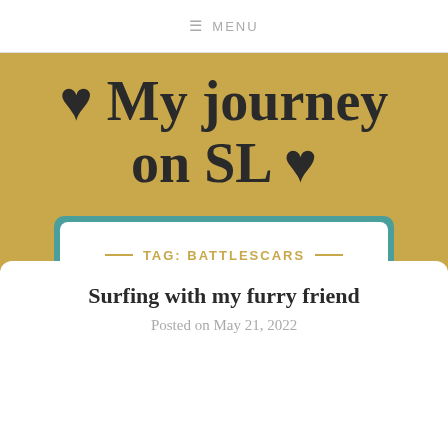≡ MENU
♥ My journey on SL ♥
TAG: BATTLESCARS
Surfing with my furry friend
Posted on May 21, 2022